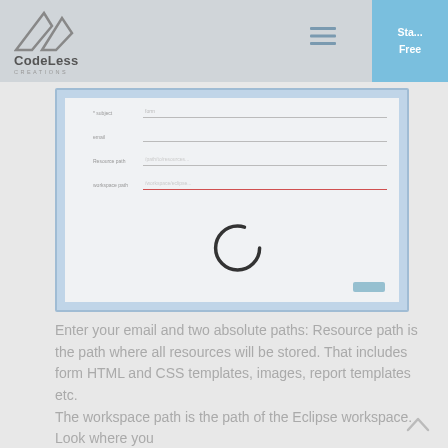CodeLess Creations — Start Free
[Figure (screenshot): Screenshot of a registration/setup form with fields for email, resource path, and workspace path, with a loading spinner circle visible in the lower center area.]
Enter your email and two absolute paths: Resource path is the path where all resources will be stored. That includes form HTML and CSS templates, images, report templates etc.
The workspace path is the path of the Eclipse workspace. Look where you